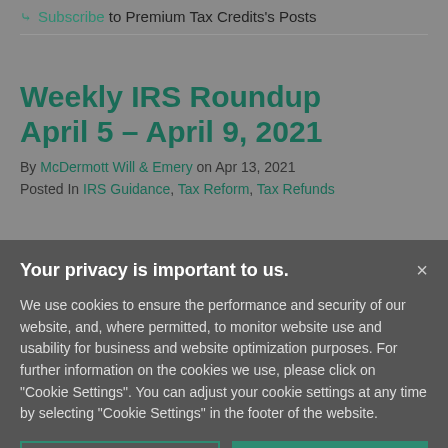Subscribe to Premium Tax Credits's Posts
Weekly IRS Roundup April 5 – April 9, 2021
By McDermott Will & Emery on Apr 13, 2021
Posted In IRS Guidance, Tax Reform, Tax Refunds
Your privacy is important to us.
We use cookies to ensure the performance and security of our website, and, where permitted, to monitor website use and usability for business and website optimization purposes. For further information on the cookies we use, please click on "Cookie Settings". You can adjust your cookie settings at any time by selecting "Cookie Settings" in the footer of the website.
Cookie Settings | Accept All Cookies